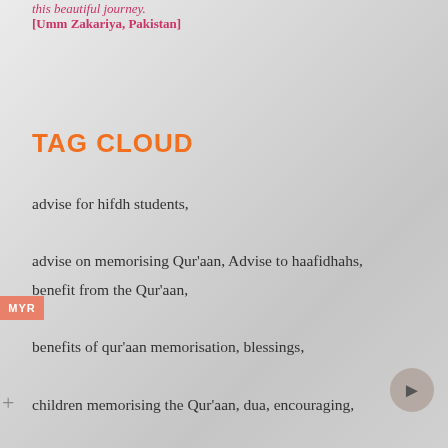this beautiful journey.
[Umm Zakariya, Pakistan]
TAG CLOUD
advise for hifdh students,
advise on memorising Qur'aan, Advise to haafidhahs,
benefit from the Qur'aan,
benefits of qur'aan memorisation, blessings,
children memorising the Qur'aan, dua, encouraging,
getting ready for ramadan, hifdh, hifdh advise,
hifdh and productivity, hifdh and time management,
hifdh diary, hifdh experiences, hifdh Q & A,
hifdh questions and answers, hifdh student, hifz,
hifz advise, hifz and ramadan